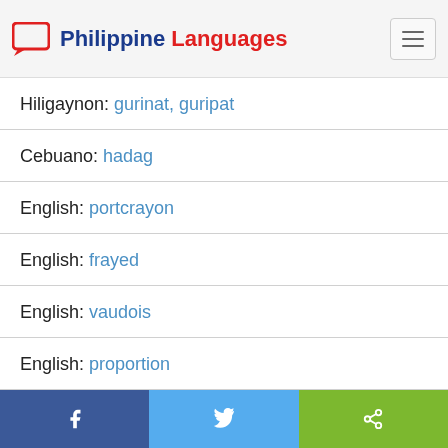Philippine Languages
Hiligaynon: gurinat, guripat
Cebuano: hadag
English: portcrayon
English: frayed
English: vaudois
English: proportion
English: structural